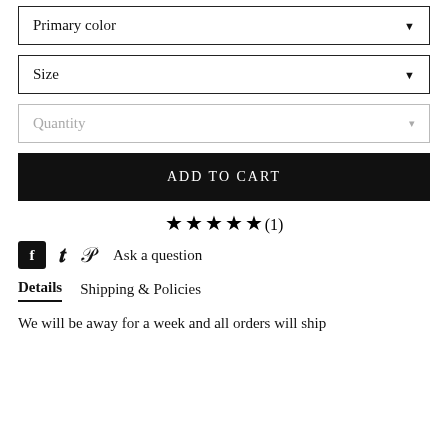Primary color ▼
Size ▼
Quantity ▼
ADD TO CART
★★★★★(1)
f  𝕥  𝓟  Ask a question
Details   Shipping & Policies
We will be away for a week and all orders will ship